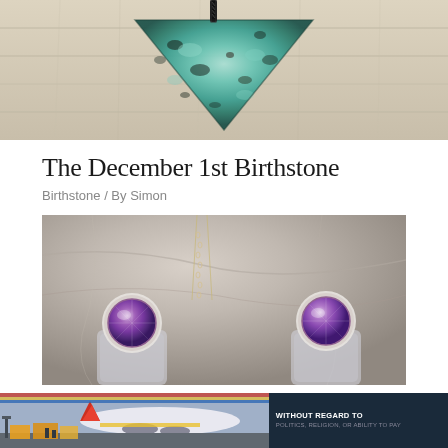[Figure (photo): Close-up photo of a turquoise/chrysocolla stone pendant on a braided black cord, resting on light wood planks]
The December 1st Birthstone
Birthstone / By Simon
[Figure (photo): Photo of two silver rings with round purple amethyst gemstones and a delicate chain necklace on a marble/stone background]
[Figure (photo): Advertisement banner: left side shows an airplane being loaded with cargo; right side shows dark background with text WITHOUT REGARD TO POLITICS, RELIGION, OR ABILITY TO PAY]